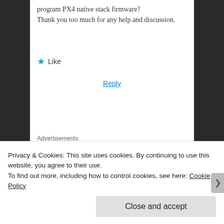program PX4 native stack firmware?
Thank you too much for any help and discussion.
★ Like
Reply
Advertisements
[Figure (logo): Automattic logo in uppercase with stylized O]
Dogan Kircali
Privacy & Cookies: This site uses cookies. By continuing to use this website, you agree to their use.
To find out more, including how to control cookies, see here: Cookie Policy
Close and accept